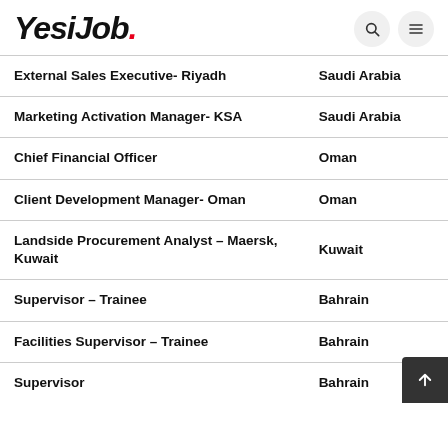YesiJob.
| Job Title | Location |
| --- | --- |
| External Sales Executive- Riyadh | Saudi Arabia |
| Marketing Activation Manager- KSA | Saudi Arabia |
| Chief Financial Officer | Oman |
| Client Development Manager- Oman | Oman |
| Landside Procurement Analyst – Maersk, Kuwait | Kuwait |
| Supervisor – Trainee | Bahrain |
| Facilities Supervisor – Trainee | Bahrain |
| Supervisor | Bahrain |